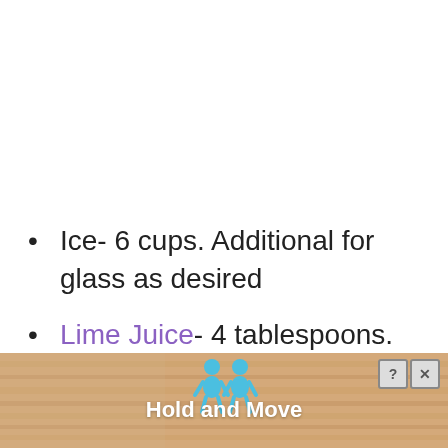Ice- 6 cups. Additional for glass as desired
Lime Juice- 4 tablespoons.
Tequila- ⅓ cup, gold or silver or your choice
[Figure (illustration): Advertisement banner at the bottom showing a wooden bowling alley texture with two blue cartoon figures and the text 'Hold and Move'. Has a close button (X) and help button (?) in the top right corner.]